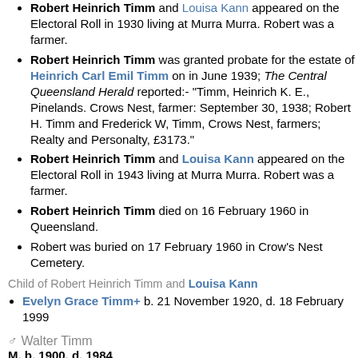Robert Heinrich Timm and Louisa Kann appeared on the Electoral Roll in 1930 living at Murra Murra. Robert was a farmer.
Robert Heinrich Timm was granted probate for the estate of Heinrich Carl Emil Timm on in June 1939; The Central Queensland Herald reported:- "Timm, Heinrich K. E., Pinelands. Crows Nest, farmer: September 30, 1938; Robert H. Timm and Frederick W, Timm, Crows Nest, farmers; Realty and Personalty, £3173."
Robert Heinrich Timm and Louisa Kann appeared on the Electoral Roll in 1943 living at Murra Murra. Robert was a farmer.
Robert Heinrich Timm died on 16 February 1960 in Queensland.
Robert was buried on 17 February 1960 in Crow's Nest Cemetery.
Child of Robert Heinrich Timm and Louisa Kann
Evelyn Grace Timm+ b. 21 November 1920, d. 18 February 1999
♂ Walter Timm
M, b. 1900, d. 1984